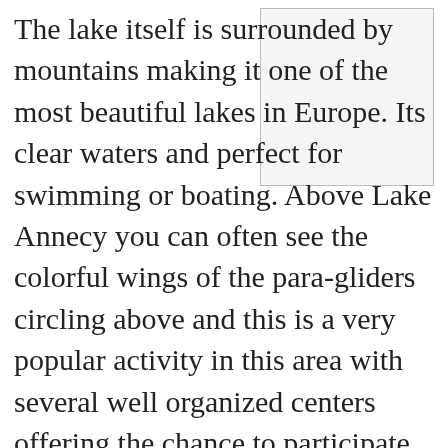The lake itself is surrounded by mountains making it one of the most beautiful lakes in Europe. Its clear waters and perfect for swimming or boating. Above Lake Annecy you can often see the colorful wings of the para-gliders circling above and this is a very popular activity in this area with several well organized centers offering the chance to participate. Flights are in tandem with experienced para-gliders making it suitable even for complete beginners.

Dotted around the lake are a number of beautiful villages including Talloires which has a world wide
[Figure (photo): Empty image placeholder box in the upper right area of the page]